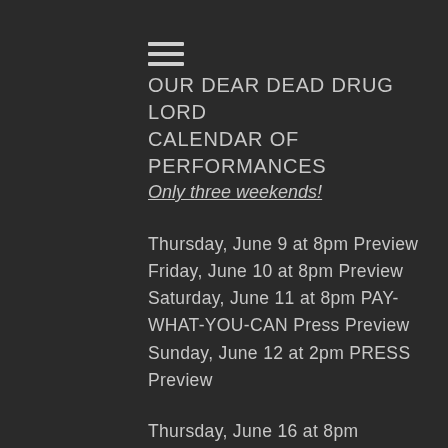OUR DEAR DEAD DRUG LORD
CALENDAR OF PERFORMANCES
Only three weekends!
Thursday, June 9 at 8pm Preview
Friday, June 10 at 8pm Preview
Saturday, June 11 at 8pm PAY-WHAT-YOU-CAN Press Preview
Sunday, June 12 at 2pm PRESS Preview
Thursday, June 16 at 8pm OPENING NIGHT
Friday, June 17 at 8pm